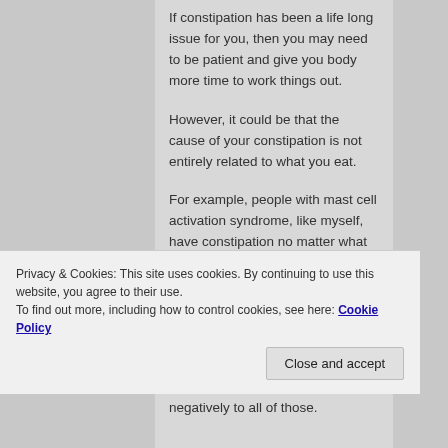If constipation has been a life long issue for you, then you may need to be patient and give you body more time to work things out.
However, it could be that the cause of your constipation is not entirely related to what you eat.
For example, people with mast cell activation syndrome, like myself, have constipation no matter what we eat.
Food intolerances in general can cause
Privacy & Cookies: This site uses cookies. By continuing to use this website, you agree to their use.
To find out more, including how to control cookies, see here: Cookie Policy
negatively to all of those.